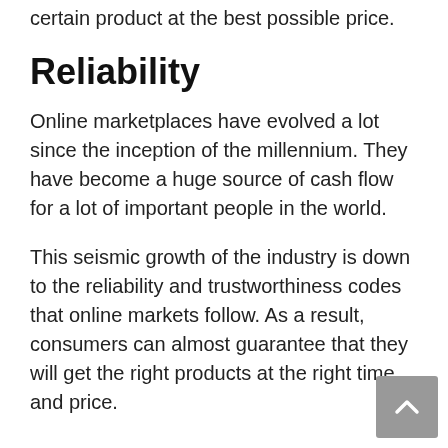certain product at the best possible price.
Reliability
Online marketplaces have evolved a lot since the inception of the millennium. They have become a huge source of cash flow for a lot of important people in the world.
This seismic growth of the industry is down to the reliability and trustworthiness codes that online markets follow. As a result, consumers can almost guarantee that they will get the right products at the right time and price.